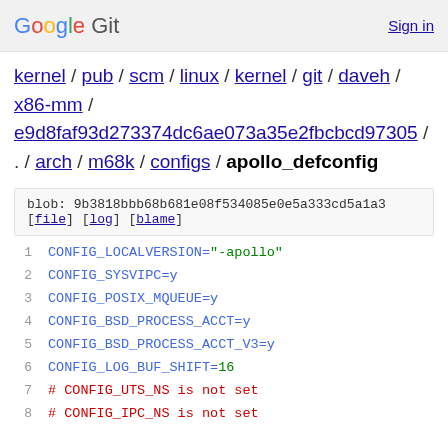Google Git  Sign in
kernel / pub / scm / linux / kernel / git / daveh / x86-mm / e9d8faf93d273374dc6ae073a35e2fbcbcd97305 / . / arch / m68k / configs / apollo_defconfig
blob: 9b3818bbb68b681e08f534085e0e5a333cd5a1a3
[file] [log] [blame]
1  CONFIG_LOCALVERSION="-apollo"
2  CONFIG_SYSVIPC=y
3  CONFIG_POSIX_MQUEUE=y
4  CONFIG_BSD_PROCESS_ACCT=y
5  CONFIG_BSD_PROCESS_ACCT_V3=y
6  CONFIG_LOG_BUF_SHIFT=16
7  # CONFIG_UTS_NS is not set
8  # CONFIG_IPC_NS is not set